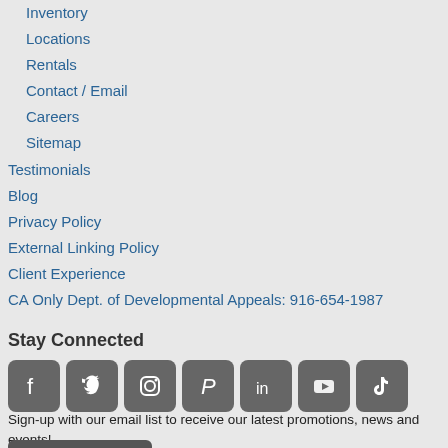Inventory
Locations
Rentals
Contact / Email
Careers
Sitemap
Testimonials
Blog
Privacy Policy
External Linking Policy
Client Experience
CA Only Dept. of Developmental Appeals: 916-654-1987
Stay Connected
[Figure (other): Social media icons: Facebook, Twitter, Instagram, Pinterest, LinkedIn, YouTube, TikTok]
Sign-up with our email list to receive our latest promotions, news and events!
Sign-up Here